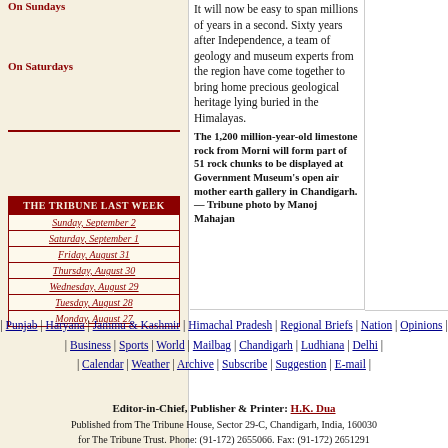On Sundays
On Saturdays
| THE TRIBUNE LAST WEEK |
| --- |
| Sunday, September 2 |
| Saturday, September 1 |
| Friday, August 31 |
| Thursday, August 30 |
| Wednesday, August 29 |
| Tuesday, August 28 |
| Monday, August 27 |
It will now be easy to span millions of years in a second. Sixty years after Independence, a team of geology and museum experts from the region have come together to bring home precious geological heritage lying buried in the Himalayas.
The 1,200 million-year-old limestone rock from Morni will form part of 51 rock chunks to be displayed at Government Museum's open air mother earth gallery in Chandigarh. — Tribune photo by Manoj Mahajan
| Punjab | Haryana | Jammu & Kashmir | Himachal Pradesh | Regional Briefs | Nation | Opinions | | Business | Sports | World | Mailbag | Chandigarh | Ludhiana | Delhi | | Calendar | Weather | Archive | Subscribe | Suggestion | E-mail |
Editor-in-Chief, Publisher & Printer: H.K. Dua
Published from The Tribune House, Sector 29-C, Chandigarh, India, 160030
for The Tribune Trust. Phone: (91-172) 2655066. Fax: (91-172) 2651291
Copyright : The Tribune Trust, 2006.